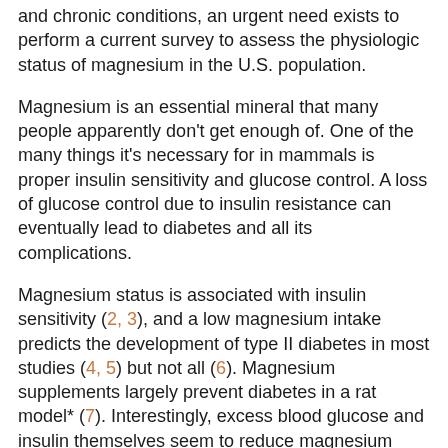and chronic conditions, an urgent need exists to perform a current survey to assess the physiologic status of magnesium in the U.S. population.
Magnesium is an essential mineral that many people apparently don't get enough of. One of the many things it's necessary for in mammals is proper insulin sensitivity and glucose control. A loss of glucose control due to insulin resistance can eventually lead to diabetes and all its complications.
Magnesium status is associated with insulin sensitivity (2, 3), and a low magnesium intake predicts the development of type II diabetes in most studies (4, 5) but not all (6). Magnesium supplements largely prevent diabetes in a rat model* (7). Interestingly, excess blood glucose and insulin themselves seem to reduce magnesium status, possibly creating a vicious cycle.
In a 1993 trial, a low-magnesium diet reduced insulin sensitivity in healthy volunteers by 25% in just four weeks.